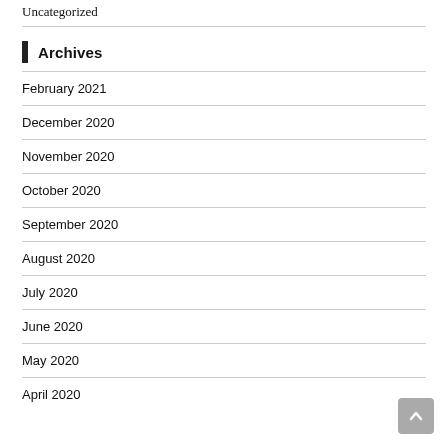Uncategorized
Archives
February 2021
December 2020
November 2020
October 2020
September 2020
August 2020
July 2020
June 2020
May 2020
April 2020